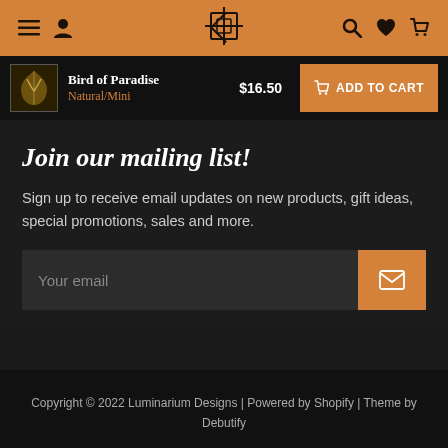Navigation bar with menu, user, logo, search, wishlist, and cart icons
Bird of Paradise | Natural/Mini | $16.50 | ADD TO CART
Join our mailing list!
Sign up to receive email updates on new products, gift ideas, special promotions, sales and more.
Your email
Copyright © 2022 Luminarium Designs | Powered by Shopify | Theme by Debutify